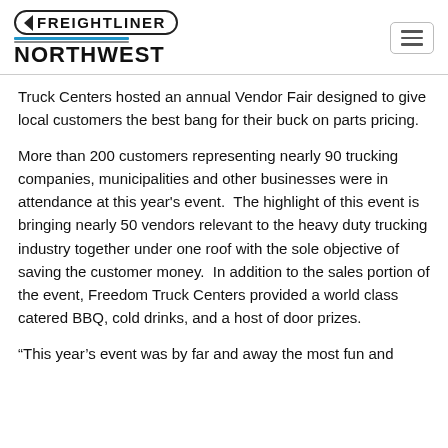FREIGHTLINER NORTHWEST
Truck Centers hosted an annual Vendor Fair designed to give local customers the best bang for their buck on parts pricing.
More than 200 customers representing nearly 90 trucking companies, municipalities and other businesses were in attendance at this year's event.  The highlight of this event is bringing nearly 50 vendors relevant to the heavy duty trucking industry together under one roof with the sole objective of saving the customer money.  In addition to the sales portion of the event, Freedom Truck Centers provided a world class catered BBQ, cold drinks, and a host of door prizes.
“This year’s event was by far and away the most fun and